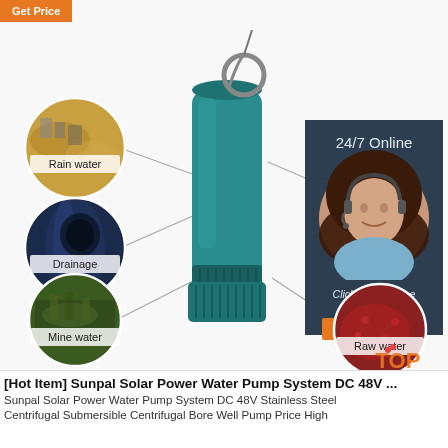[Figure (infographic): Product infographic showing a teal/green submersible water pump in the center, with four circular images connected by diagonal lines: Rain water (top-left), Drainage (middle-left), Mine water (bottom-left), Raw water (bottom-right). Top-right shows a '24/7 Online' customer service panel with a woman wearing a headset, and a dark panel with 'Click here for free chat!' and an orange QUOTATION button. An orange 'Get Price' label is in the top-left corner.]
[Hot Item] Sunpal Solar Power Water Pump System DC 48V ...
Sunpal Solar Power Water Pump System DC 48V Stainless Steel Centrifugal Submersible Centrifugal Bore Well Pump Price High